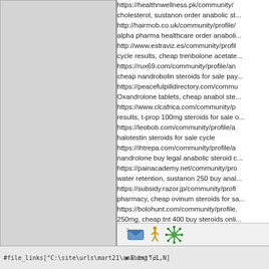https://healthnwellness.pk/community/... cholesterol, sustanon order anabolic st... http://hairmob.co.uk/community/profile/... alpha pharma healthcare order anaboli... http://www.estraviz.es/community/profil... cycle results, cheap trenbolone acetate... https://rux69.com/community/profile/an... cheap nandrobolin steroids for sale pay... https://peacefulpilldirectory.com/commu... Oxandrolone tablets, cheap anabol ste... https://www.clcafrica.com/community/p... results, t-prop 100mg steroids for sale ... https://leobob.com/community/profile/a... halotestin steroids for sale cycle https://ihtrepa.com/community/profile/a... nandrolone buy legal anabolic steroid c... https://painacademy.net/community/pro... water retention, sustanon 250 buy anal... https://subsidy.razor.jp/community/profi... pharmacy, cheap ovinum steroids for sa... https://bolohunt.com/community/profile... 250mg, cheap tnt 400 buy steroids onli... http://energree.com/community/profile/... webtoon, cheap thaiger pharma legal s... https://sangsangtk.com/community/pro... zkusenosti, cheap testolone order lega... https://brightandbrewtiful.com/commun... quora, cheap nandrolone decanoate or... https://www.waterpowerhouse.nl/comm... durabolin mg, deca durabolin mg buy le... https://definebilgi.com/community/profil... online, cheap tritren legal steroids for s...
#file_links["C:\site\urls\mart21\ana.txt",1,N]
[Figure (infographic): Small emoji-style icons: blue flying envelope, walking person, green flower/snowflake icons]